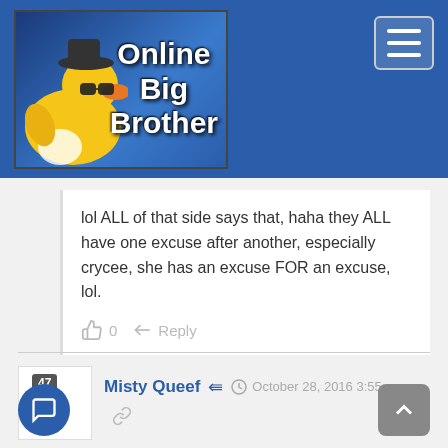[Figure (logo): Online Big Brother website logo with rubber duck wearing sunglasses and hat on blue background]
lol ALL of that side says that, haha they ALL have one excuse after another, especially crycee, she has an excuse FOR an excuse, lol.
0   Reply
Misty Queef  October 28, 2016 3:55 pm
The LNJ are so hypocritical. The Ball Smashers have to walk around on egg shells, trying not to appear too happy about anything or it might upset the LNJ. Let's see, I seem to remember the LNJ jumping for joy and celebrating their wins out on Wednesday night when Danielle won the HOH comp! Yet, when they overhear the Ball Smashers